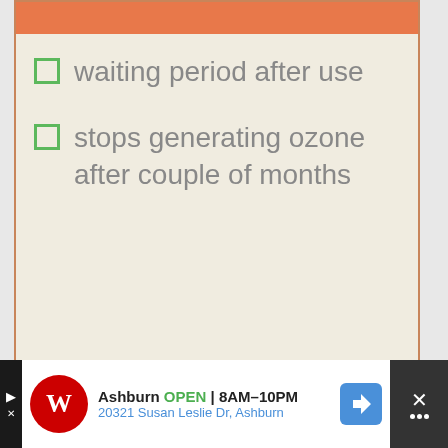waiting period after use
stops generating ozone after couple of months
2. The Enaly Home
[Figure (screenshot): Advertisement banner for Walgreens: Ashburn OPEN 8AM-10PM, 20321 Susan Leslie Dr, Ashburn]